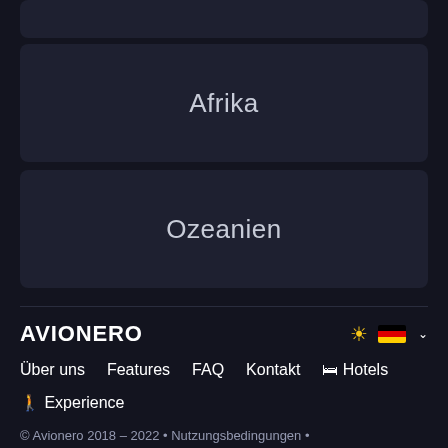Afrika
Ozeanien
AVIONERO • Über uns • Features • FAQ • Kontakt • Hotels • Experience • © Avionero 2018 – 2022 • Nutzungsbedingungen • Cookie-Richtlinie • Datenschutzrichtlinie